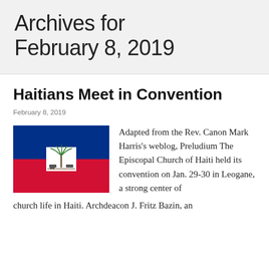Archives for February 8, 2019
Haitians Meet in Convention
February 8, 2019
[Figure (photo): Flag of Haiti — blue and red horizontal bicolor with white square containing coat of arms in center]
Adapted from the Rev. Canon Mark Harris's weblog, Preludium The Episcopal Church of Haiti held its convention on Jan. 29-30 in Leogane, a strong center of church life in Haiti. Archdeacon J. Fritz Bazin, an